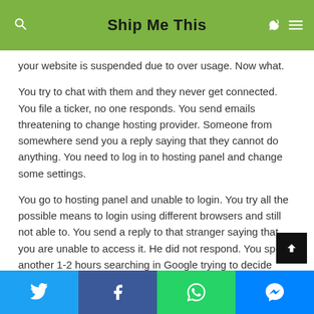Ship Me This
your website is suspended due to over usage. Now what.
You try to chat with them and they never get connected. You file a ticker, no one responds. You send emails threatening to change hosting provider. Someone from somewhere send you a reply saying that they cannot do anything. You need to log in to hosting panel and change some settings.
You go to hosting panel and unable to login. You try all the possible means to login using different browsers and still not able to. You send a reply to that stranger saying that you are unable to access it. He did not respond. You spend another 1-2 hours searching in Google trying to decide what to do and figures better to do divorce.